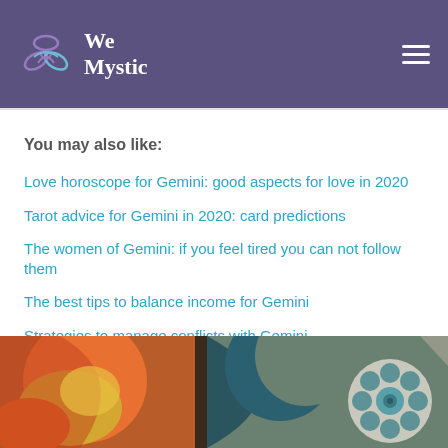We Mystic
You may also like:
Love horoscope for Gemini: good aspects for love in 2020
Tarot advice for Gemini in 2020: card predictions
The women of Gemini: if you feel tired you can not follow them
The best tips to balance income for Gemini
Strategies to manage conflicts with Gemini
[Figure (illustration): Colorful decorative illustration with orange, yellow, teal, and brown abstract floral and moon shapes]